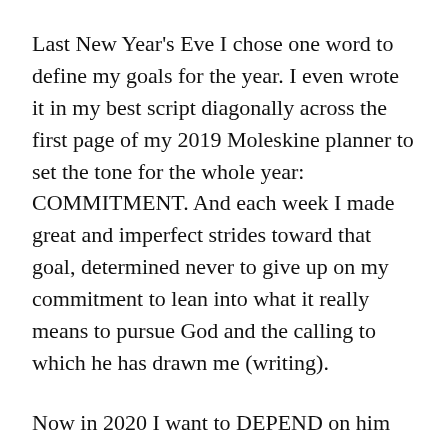Last New Year's Eve I chose one word to define my goals for the year. I even wrote it in my best script diagonally across the first page of my 2019 Moleskine planner to set the tone for the whole year: COMMITMENT. And each week I made great and imperfect strides toward that goal, determined never to give up on my commitment to lean into what it really means to pursue God and the calling to which he has drawn me (writing).
Now in 2020 I want to DEPEND on him and know what that really is like.
And as we enter the new year with a fresh d...